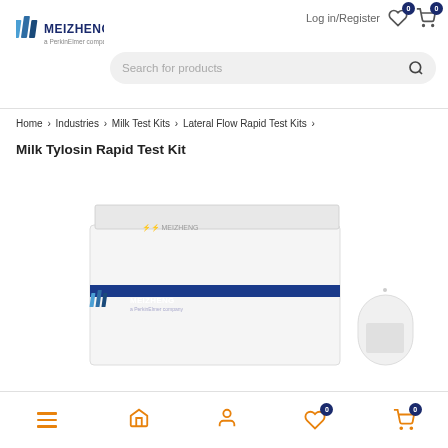Meizheng - a PerkinElmer company website header with logo, Log in/Register, wishlist, cart, and search bar
Home > Industries > Milk Test Kits > Lateral Flow Rapid Test Kits > Milk Tylosin Rapid Test Kit
Milk Tylosin Rapid Test Kit
[Figure (photo): Product photo showing white box packaging of Meizheng Milk Tylosin Rapid Test Kit with blue stripe and Meizheng logo, alongside a lateral flow test strip]
Bottom navigation bar with menu, home, account, wishlist (0), and cart (0) icons